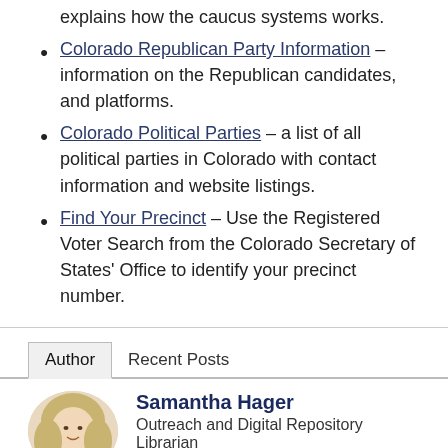explains how the caucus systems works.
Colorado Republican Party Information – information on the Republican candidates, and platforms.
Colorado Political Parties – a list of all political parties in Colorado with contact information and website listings.
Find Your Precinct – Use the Registered Voter Search from the Colorado Secretary of States' Office to identify your precinct number.
Author | Recent Posts
Samantha Hager
Outreach and Digital Repository Librarian